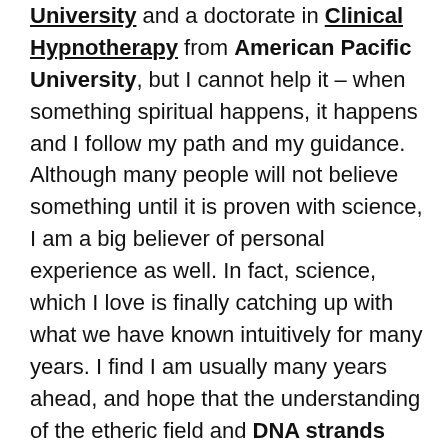University and a doctorate in Clinical Hypnotherapy from American Pacific University, but I cannot help it – when something spiritual happens, it happens and I follow my path and my guidance. Although many people will not believe something until it is proven with science, I am a big believer of personal experience as well. In fact, science, which I love is finally catching up with what we have known intuitively for many years. I find I am usually many years ahead, and hope that the understanding of the etheric field and DNA strands becoming activated will be main stream information in the next few years.
At this time, it is important for me to assist others in becoming activated. Since my work with the Lords of Karma, DNA Activation and the Essential Energy Balancing workshops I have facilitated, my life has been incredible. I am able to manifest easily and it is much